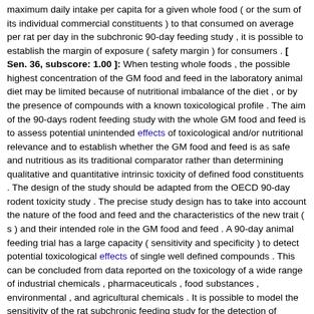maximum daily intake per capita for a given whole food ( or the sum of its individual commercial constituents ) to that consumed on average per rat per day in the subchronic 90-day feeding study , it is possible to establish the margin of exposure ( safety margin ) for consumers . [ Sen. 36, subscore: 1.00 ]: When testing whole foods , the possible highest concentration of the GM food and feed in the laboratory animal diet may be limited because of nutritional imbalance of the diet , or by the presence of compounds with a known toxicological profile . The aim of the 90-days rodent feeding study with the whole GM food and feed is to assess potential unintended effects of toxicological and/or nutritional relevance and to establish whether the GM food and feed is as safe and nutritious as its traditional comparator rather than determining qualitative and quantitative intrinsic toxicity of defined food constituents . The design of the study should be adapted from the OECD 90-day rodent toxicity study . The precise study design has to take into account the nature of the food and feed and the characteristics of the new trait ( s ) and their intended role in the GM food and feed . A 90-day animal feeding trial has a large capacity ( sensitivity and specificity ) to detect potential toxicological effects of single well defined compounds . This can be concluded from data reported on the toxicology of a wide range of industrial chemicals , pharmaceuticals , food substances , environmental , and agricultural chemicals . It is possible to model the sensitivity of the rat subchronic feeding study for the detection of hypothetically increased amount of compounds such as anti-nutrients , toxicants or secondary metabolites . With respect to the detection of potential unintended effects in whole GM food and feed , it is unlikely that substances present in small amounts and with a low toxic potential will result in any observable ( unintended ) effects in a 90-day rodent feeding study , as they would be below the no-observed-effect-level and thus of unlikely impact to human health at normal intake levels .